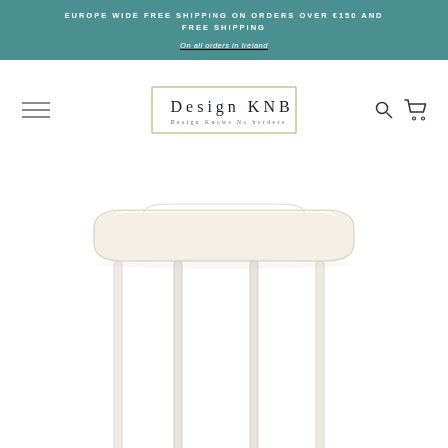EUROPE WIDE FREE SHIPPING ON ORDERS OVER €150 AND FREE SHIPPING
On all orders in Ireland
[Figure (logo): Design KNB logo with gold border, text 'Design KNB' and tagline 'Design Knows No Borders']
[Figure (photo): White minimalist console table with rounded oval top and thin metal legs on white background]